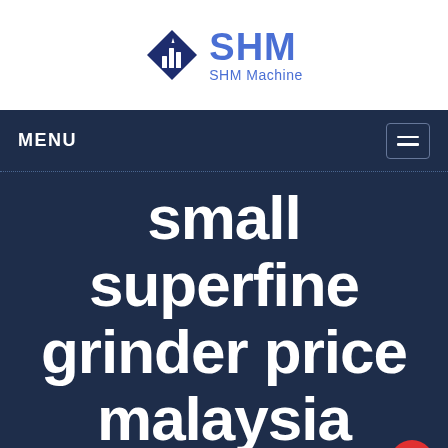[Figure (logo): SHM Machine logo: blue diamond shape with building/chart icon, and 'SHM' text in blue with 'SHM Machine' subtitle]
MENU
small superfine grinder price malaysia
Home / small superfine grinder price malaysia